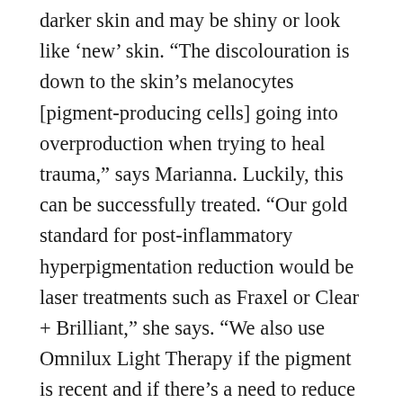darker skin and may be shiny or look like 'new' skin. “The discolouration is down to the skin’s melanocytes [pigment-producing cells] going into overproduction when trying to heal trauma,” says Marianna. Luckily, this can be successfully treated. “Our gold standard for post-inflammatory hyperpigmentation reduction would be laser treatments such as Fraxel or Clear + Brilliant,” she says. “We also use Omnilux Light Therapy if the pigment is recent and if there’s a need to reduce inflammation.” As with all treatments, good at-home aftercare is required to achieve the best results and Marianna recommends using skincare containing tyrosinase inhibitors and high-strength